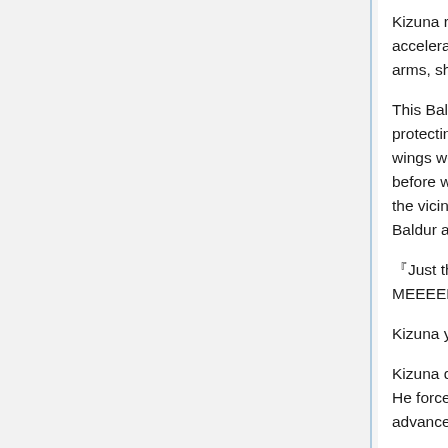Kizuna raised the thrusters’ output further and accelerated. Impacts were reverberating from both his arms, shoulders, rib cage, and internal organs.
This Baldur was greatly different from when he was protecting his comrades before this. The current crystal wings were aiming solely at Kizuna. This wasn’t like before when the attack was annihilating all living things in the vicinity of the arena. Now he had to block against Baldur alone in its entirety.
『Just this much! DON’T THINK IT CAN STOP MEEEEEEEEEEEEE!!』
Kizuna yelled to spur himself on.
Kizuna desperately endured Baldur’s concentrated fire. He forcefully repelled and pushed in using Life Saver to advance. Before his eyes violent lights